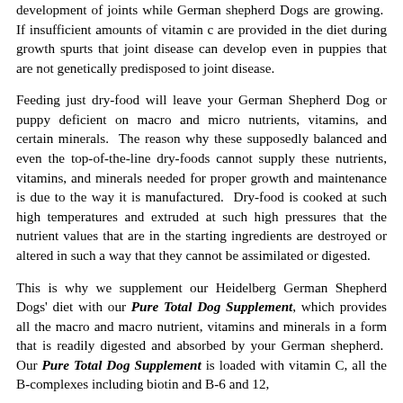development of joints while German shepherd Dogs are growing.  If insufficient amounts of vitamin c are provided in the diet during growth spurts that joint disease can develop even in puppies that are not genetically predisposed to joint disease.
Feeding just dry-food will leave your German Shepherd Dog or puppy deficient on macro and micro nutrients, vitamins, and certain minerals.  The reason why these supposedly balanced and even the top-of-the-line dry-foods cannot supply these nutrients, vitamins, and minerals needed for proper growth and maintenance is due to the way it is manufactured.  Dry-food is cooked at such high temperatures and extruded at such high pressures that the nutrient values that are in the starting ingredients are destroyed or altered in such a way that they cannot be assimilated or digested.
This is why we supplement our Heidelberg German Shepherd Dogs' diet with our Pure Total Dog Supplement, which provides all the macro and macro nutrient, vitamins and minerals in a form that is readily digested and absorbed by your German shepherd.  Our Pure Total Dog Supplement is loaded with vitamin C, all the B-complexes including biotin and B-6 and 12, Digest K, and is highly loaded with digestive enzymes to...